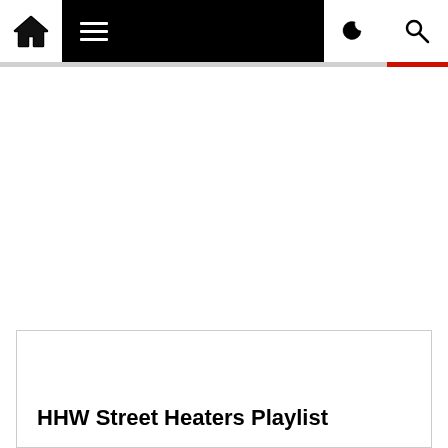HHW - Home navigation bar with hamburger menu, moon/dark mode icon, and search icon
HHW Street Heaters Playlist